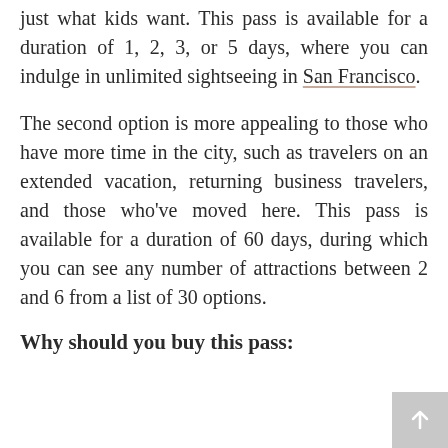just what kids want. This pass is available for a duration of 1, 2, 3, or 5 days, where you can indulge in unlimited sightseeing in San Francisco.
The second option is more appealing to those who have more time in the city, such as travelers on an extended vacation, returning business travelers, and those who've moved here. This pass is available for a duration of 60 days, during which you can see any number of attractions between 2 and 6 from a list of 30 options.
Why should you buy this pass: